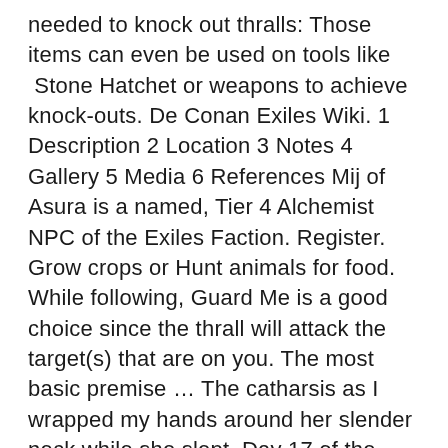needed to knock out thralls: Those items can even be used on tools like Stone Hatchet or weapons to achieve knock-outs. De Conan Exiles Wiki. 1 Description 2 Location 3 Notes 4 Gallery 5 Media 6 References Mij of Asura is a named, Tier 4 Alchemist NPC of the Exiles Faction. Register. Grow crops or Hunt animals for food. While following, Guard Me is a good choice since the thrall will attack the target(s) that are on you. The most basic premise … The catharsis as I wrapped my hands around her slender neck while she slept. Day 17 of the Month of Epep, Year of the Dog. On guard, however, Attack All Enemies is a good choice, as is Guard Area since you want the thrall to engage anything that gets within range. These human NPCs may be captured using Conan Exiles's thrall system. Dominate. 5 pm to 11 pm PST on official servers) (Building damage must be set as Thralls are considered buildings, other wise they won't attack players). If Prioritize